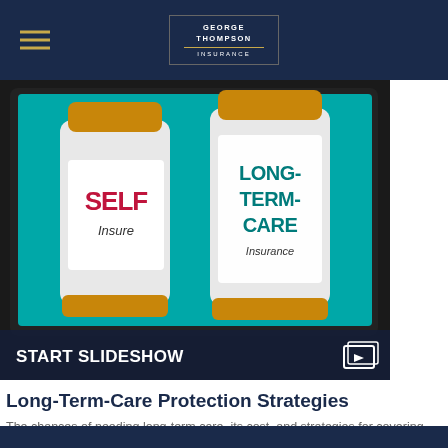[Figure (screenshot): George Thompson Insurance company logo centered in dark navy navigation bar with hamburger menu icon on left]
[Figure (photo): Slideshow image showing two pill bottles on a tablet screen — one labeled SELF Insure in red/dark text, the other labeled LONG-TERM-CARE Insurance in teal text on a teal background. Bottom bar reads START SLIDESHOW with a slideshow icon.]
Long-Term-Care Protection Strategies
The chances of needing long-term care, its cost, and strategies for covering that cost.